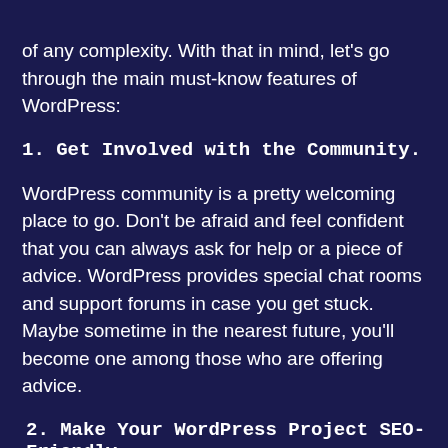of any complexity. With that in mind, let's go through the main must-know features of WordPress:
1. Get Involved with the Community.
WordPress community is a pretty welcoming place to go. Don't be afraid and feel confident that you can always ask for help or a piece of advice. WordPress provides special chat rooms and support forums in case you get stuck. Maybe sometime in the nearest future, you'll become one among those who are offering advice.
2. Make Your WordPress Project SEO-Friendly.
Making your website SEO-friendly is of crucial importance to boost up the traffic. Basically, WordPress is favored by
[Figure (photo): 3D letters spelling SEO with a red target/bullseye and arrow hitting the center, on a reflective surface]